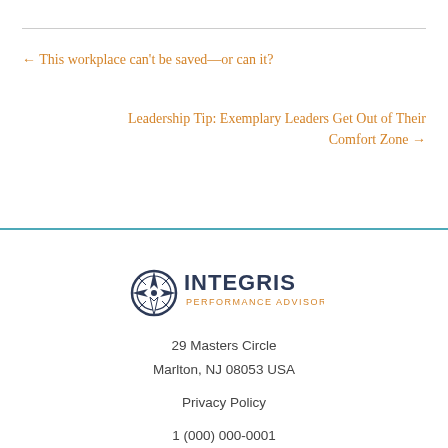← This workplace can't be saved—or can it?
Leadership Tip: Exemplary Leaders Get Out of Their Comfort Zone →
[Figure (logo): Integris Performance Advisors logo with compass rose icon and company name]
29 Masters Circle
Marlton, NJ 08053 USA
Privacy Policy
1 (000) 000-0001